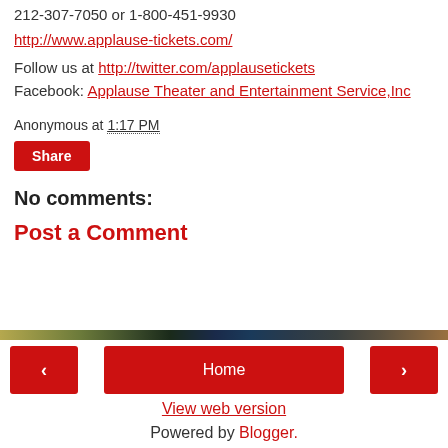212-307-7050 or 1-800-451-9930
http://www.applause-tickets.com/
Follow us at http://twitter.com/applausetickets
Facebook: Applause Theater and Entertainment Service,Inc
Anonymous at 1:17 PM
Share
No comments:
Post a Comment
[Figure (infographic): Decorative color bar gradient strip]
< Home >
View web version
Powered by Blogger.